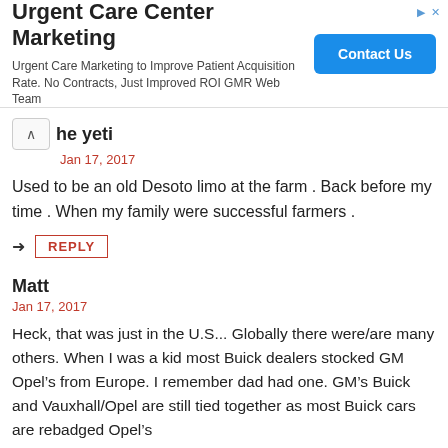[Figure (other): Advertisement banner for Urgent Care Center Marketing with Contact Us button]
the yeti
Jan 17, 2017
Used to be an old Desoto limo at the farm . Back before my time . When my family were successful farmers .
REPLY
Matt
Jan 17, 2017
Heck, that was just in the U.S... Globally there were/are many others. When I was a kid most Buick dealers stocked GM Opel’s from Europe. I remember dad had one. GM’s Buick and Vauxhall/Opel are still tied together as most Buick cars are rebadged Opel’s